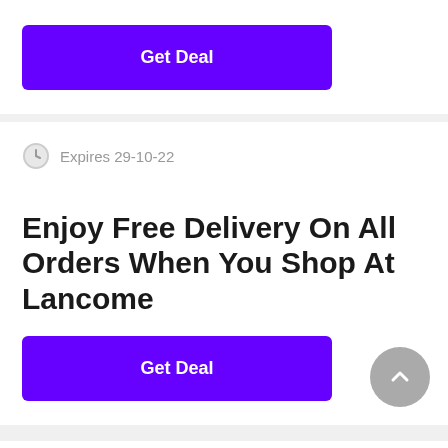[Figure (other): Get Deal button (purple/violet) partially visible at top of page]
Expires 29-10-22
Enjoy Free Delivery On All Orders When You Shop At Lancome
[Figure (other): Get Deal button (purple/violet)]
[Figure (other): Scroll to top circular grey button with upward chevron]
Expires 28-11-22
Student Discount - Save 10% On